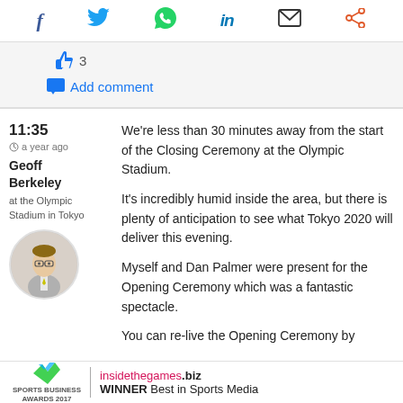[Figure (infographic): Social media sharing icons bar: Facebook (f), Twitter (bird), WhatsApp (phone), LinkedIn (in), Email (envelope), Share (nodes)]
[Figure (infographic): Interaction bar with thumbs up like icon showing count 3, and Add comment button]
11:35
a year ago
Geoff Berkeley
at the Olympic Stadium in Tokyo
[Figure (photo): Circular author photo of Geoff Berkeley, a young man with glasses and a yellow tie]
We're less than 30 minutes away from the start of the Closing Ceremony at the Olympic Stadium.

It's incredibly humid inside the area, but there is plenty of anticipation to see what Tokyo 2020 will deliver this evening.

Myself and Dan Palmer were present for the Opening Ceremony which was a fantastic spectacle.

You can re-live the Opening Ceremony by
[Figure (logo): insidethegames.biz logo with Sports Business Awards 2017 badge. WINNER Best in Sports Media]